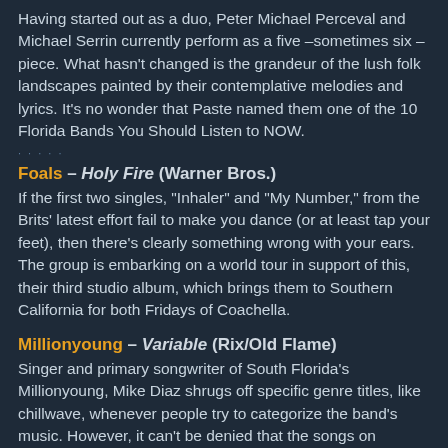Having started out as a duo, Peter Michael Perceval and Michael Serrin currently perform as a five –sometimes six – piece. What hasn't changed is the grandeur of the lush folk landscapes painted by their contemplative melodies and lyrics. It's no wonder that Paste named them one of the 10 Florida Bands You Should Listen to NOW.
Foals – Holy Fire (Warner Bros.)
If the first two singles, "Inhaler" and "My Number," from the Brits' latest effort fail to make you dance (or at least tap your feet), then there's clearly something wrong with your ears. The group is embarking on a world tour in support of this, their third studio album, which brings them to Southern California for both Fridays of Coachella.
Millionyoung – Variable (Rix/Old Flame)
Singer and primary songwriter of South Florida's Millionyoung, Mike Diaz shrugs off specific genre titles, like chillwave, whenever people try to categorize the band's music. However, it can't be denied that the songs on Variable, including first single "Lovin'," are chock full of breezy melodies and electronic boops and beats. No act...